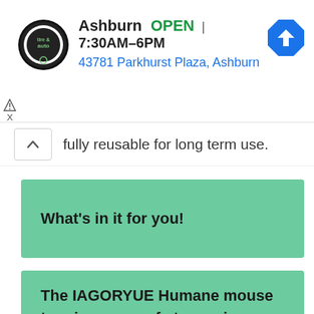[Figure (other): Advertisement banner for Ashburn tire & auto shop showing logo, OPEN status, hours 7:30AM-6PM, address 43781 Parkhurst Plaza Ashburn, and a navigation arrow icon]
fully reusable for long term use.
What’s in it for you!
The IAGORYUE Humane mouse trap is super-safe to use in homes with kids or dogs. Safer than traditional mouse traps, No poison, No